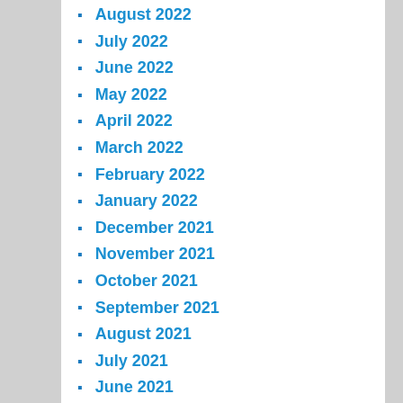August 2022
July 2022
June 2022
May 2022
April 2022
March 2022
February 2022
January 2022
December 2021
November 2021
October 2021
September 2021
August 2021
July 2021
June 2021
May 2021
April 2021
March 2021
February 2021
January 2021
December 2020
November 2020